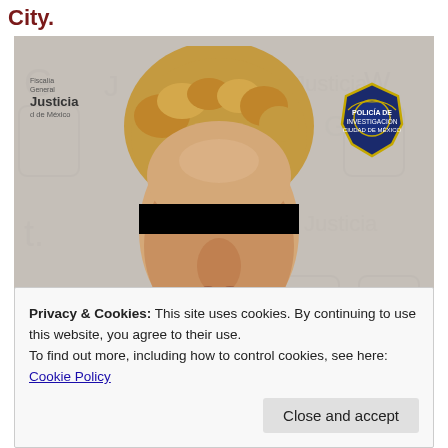City.
[Figure (photo): Mugshot photo of a person with curly blond/reddish hair, eyes blacked out with a black bar, against an official Mexico City Justice Department watermarked background. Top-left shows Fiscalía General Justicia Ciudad de México logo. Top-right shows an official police/investigative badge.]
Privacy & Cookies: This site uses cookies. By continuing to use this website, you agree to their use.
To find out more, including how to control cookies, see here: Cookie Policy
Close and accept